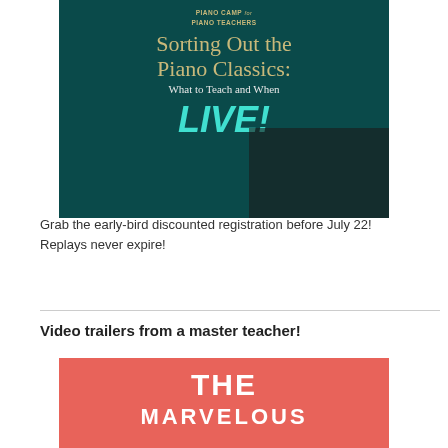[Figure (illustration): Promotional banner image for 'Piano Camp for Piano Teachers' event titled 'Sorting Out the Piano Classics: What to Teach and When LIVE!' on a dark teal background with piano imagery and handwritten-style 'LIVE!' text in teal.]
Grab the early-bird discounted registration before July 22! Replays never expire!
Video trailers from a master teacher!
[Figure (illustration): Promotional thumbnail image with coral/pink background showing 'THE MARVELOUS' text in large white bold letters, partial view of an image.]